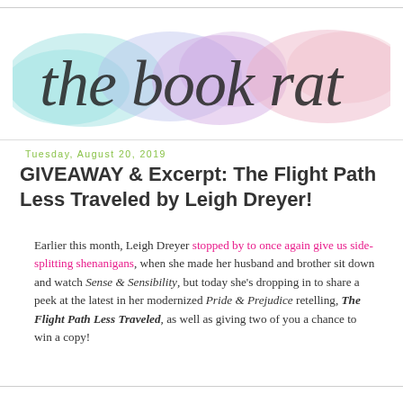[Figure (logo): The Book Rat blog logo — handwritten calligraphy text 'the book rat' over a watercolor wash background in pastel teal, purple, and pink hues]
Tuesday, August 20, 2019
GIVEAWAY & Excerpt: The Flight Path Less Traveled by Leigh Dreyer!
Earlier this month, Leigh Dreyer stopped by to once again give us side-splitting shenanigans, when she made her husband and brother sit down and watch Sense & Sensibility, but today she's dropping in to share a peek at the latest in her modernized Pride & Prejudice retelling, The Flight Path Less Traveled, as well as giving two of you a chance to win a copy!